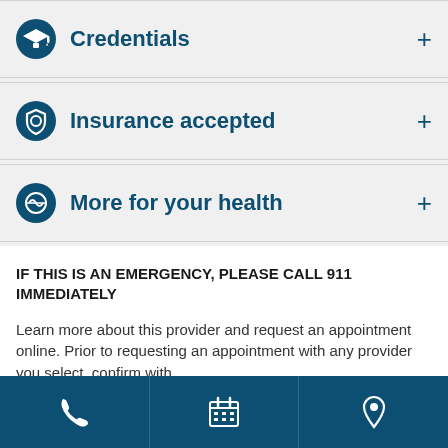Credentials
Insurance accepted
More for your health
IF THIS IS AN EMERGENCY, PLEASE CALL 911 IMMEDIATELY
Learn more about this provider and request an appointment online. Prior to requesting an appointment with any provider you select, confirm with
Phone | Calendar | Location